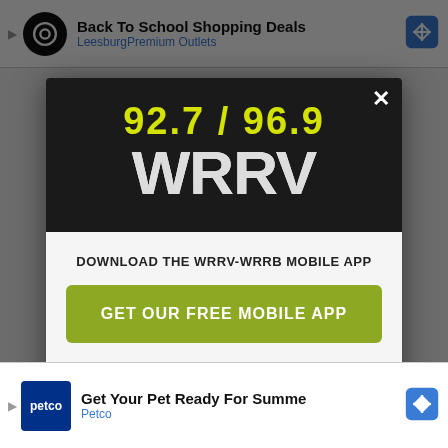[Figure (screenshot): Background webpage with top ad banner showing 'Back To School Shopping Deals - Leesburg Premium Outlets' and bottom ad showing 'Get Your Pet Ready For Summe - Petco']
[Figure (logo): WRRV radio station modal popup with logo showing '92.7 / 96.9 WRRV' in yellow and white distressed text on dark background]
DOWNLOAD THE WRRV-WRRB MOBILE APP
GET OUR FREE MOBILE APP
Also listen on: amazon alexa